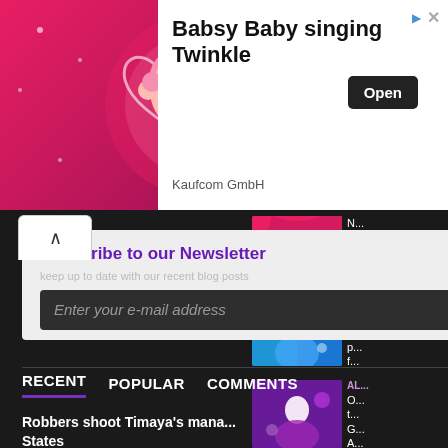[Figure (illustration): Advertisement banner with animated baby character on pink background. Babsy Baby singing Twinkle by Kaufcom GmbH with Open button.]
Babsy Baby singing Twinkle
Kaufcom GmbH
Subscribe to our Newsletter
Enter your e-mail address
RECENT   POPULAR   COMMENTS
Robbers shoot Timaya's mana... States
BY ... SEPTEMBE...
[Figure (photo): Woman in red/pink dress on right sidebar]
N... C... d... b...
[Figure (photo): Man in recording studio on right sidebar]
E... 'O... a... p... f...
[Figure (photo): Man performing on stage on right sidebar]
AL... O... t... G... A...